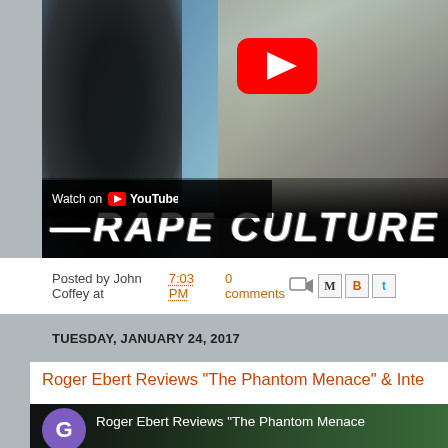[Figure (screenshot): YouTube video thumbnail showing two people, one dark-haired figure on left and blonde woman on right, with text 'RAPE CULTURE' overlaid and YouTube play button. 'Watch on YouTube' bar at bottom.]
Posted by John Coffey at 7:03 PM   0 comments
TUESDAY, JANUARY 24, 2017
Roger Ebert Reviews "The Phantom Menace" & Inte
[Figure (screenshot): YouTube video thumbnail with purple G avatar icon and text 'Roger Ebert Reviews "The Phantom Menace"']